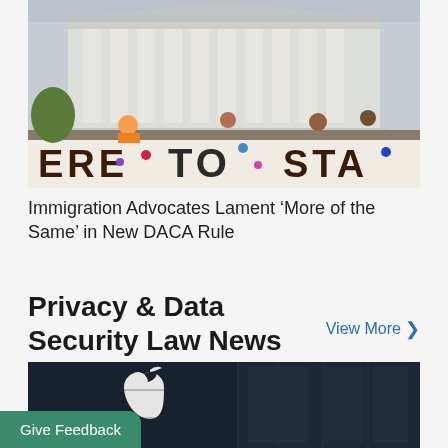[Figure (photo): Protesters outside the US Supreme Court building holding a banner that reads 'HERE TO STAY' with colorful drawings of flowers and stars.]
Immigration Advocates Lament ‘More of the Same’ in New DACA Rule
Privacy & Data Security Law News
View More >
[Figure (photo): Close-up of an Apple logo on a dark glass building exterior.]
Give Feedback